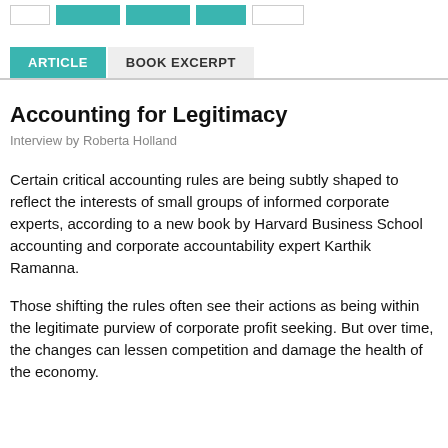ARTICLE  BOOK EXCERPT
Accounting for Legitimacy
Interview by Roberta Holland
Certain critical accounting rules are being subtly shaped to reflect the interests of small groups of informed corporate experts, according to a new book by Harvard Business School accounting and corporate accountability expert Karthik Ramanna.
Those shifting the rules often see their actions as being within the legitimate purview of corporate profit seeking. But over time, the changes can lessen competition and damage the health of the economy.